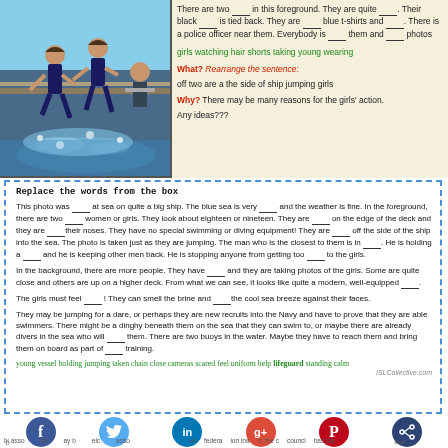[Figure (photo): Photo of two young women/girls jumping off the side of a ship into the sea, with water splashing. A man is visible nearby holding something. Blue sea and ship deck visible.]
There are two ___ in this foreground. They are quite ___. Their black ___ is tied back. They are ___ blue t-shirts and ___. There is a police officer near them. Everybody is ___ them and ___ photos
girls watching hair shorts taking young wearing
What? Rearrange the sentence:
off two are a the side of ship jumping girls
Why? There may be many reasons for the girls' action.
Any ideas???
Replace the words from the box
This photo was ___ at sea on quite a big ship. The blue sea is very ____ and the weather is fine. In the foreground, there are two ____ women or girls. They look about eighteen or nineteen. They are ____ on the edge of the deck and they are ____their noses. They have no special swimming or diving equipment! They are ____ off the side of the ship into the sea. The photo is taken just as they are jumping. The man who is the closest to them is in ____. He is holding a ____ and he is keeping other men back. He is stopping anyone from getting too ____ to the girls.
In the background, there are more people. They have ___ and they are taking photos of the girls. Some are quite close and others are up on a higher deck. From what we can see, it looks like quite a modern, well-equipped ____.
The girls must feel ____ ! They can smell the brine and ____the cool sea breeze against their faces.
They may be jumping for a dare, or perhaps they are new recruits into the Navy and have to prove that they are able swimmers. There might be a dinghy beneath them on the sea that they can swim to, or maybe there are already divers in the sea who will ____ them. There are two buoys in the water. Maybe they have to reach them and bring them on board as part of ____ training.
young vessel holding jumping taken chain close cameras scared feel uniform help lifeguard standing calm
ISLCollective.com
[Figure (infographic): Social media sharing buttons: Facebook (blue), Twitter (light blue), LinkedIn (blue), Google+ (red), Pinterest (dark red), Share (dark blue)]